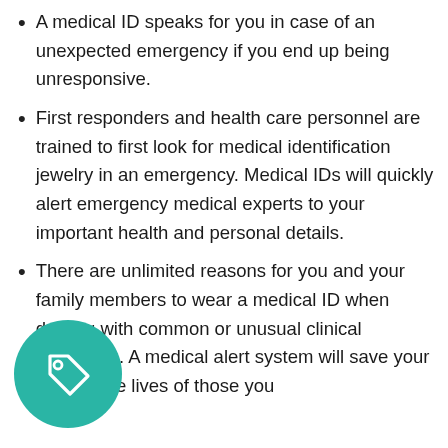A medical ID speaks for you in case of an unexpected emergency if you end up being unresponsive.
First responders and health care personnel are trained to first look for medical identification jewelry in an emergency. Medical IDs will quickly alert emergency medical experts to your important health and personal details.
There are unlimited reasons for you and your family members to wear a medical ID when dealing with common or unusual clinical conditions. A medical alert system will save your life and the lives of those you
[Figure (illustration): Teal circular icon with a price tag / label symbol in white]